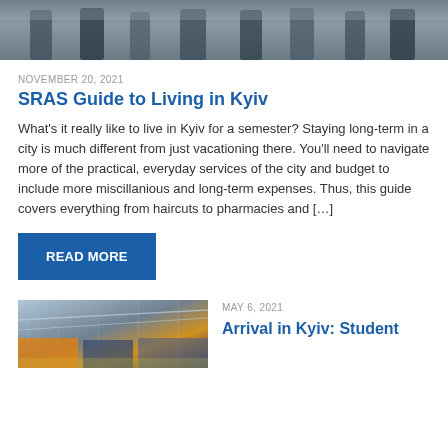[Figure (photo): Group of students or people standing together outdoors, partial view cropped at top]
NOVEMBER 20, 2021
SRAS Guide to Living in Kyiv
What's it really like to live in Kyiv for a semester? Staying long-term in a city is much different from just vacationing there. You'll need to navigate more of the practical, everyday services of the city and budget to include more miscillanious and long-term expenses. Thus, this guide covers everything from haircuts to pharmacies and […]
READ MORE
[Figure (photo): Interior of what appears to be an airport or large transit hall with high ceiling and shops]
MAY 6, 2021
Arrival in Kyiv: Student